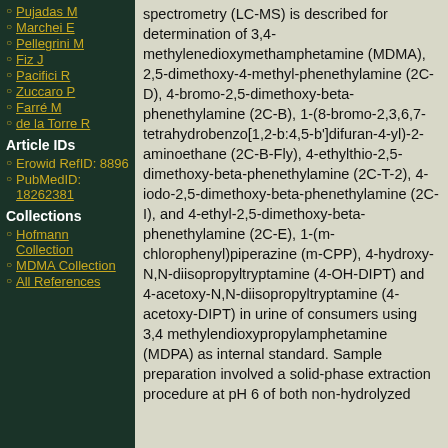Pujadas M
Marchei E
Pellegrini M
Fiz J
Pacifici R
Zuccaro P
Farré M
de la Torre R
Article IDs
Erowid RefID: 8896
PubMedID: 18262381
Collections
Hofmann Collection
MDMA Collection
All References
spectrometry (LC-MS) is described for determination of 3,4-methylenedioxymethamphetamine (MDMA), 2,5-dimethoxy-4-methyl-phenethylamine (2C-D), 4-bromo-2,5-dimethoxy-beta-phenethylamine (2C-B), 1-(8-bromo-2,3,6,7-tetrahydrobenzo[1,2-b:4,5-b']difuran-4-yl)-2-aminoethane (2C-B-Fly), 4-ethylthio-2,5-dimethoxy-beta-phenethylamine (2C-T-2), 4-iodo-2,5-dimethoxy-beta-phenethylamine (2C-I), and 4-ethyl-2,5-dimethoxy-beta-phenethylamine (2C-E), 1-(m-chlorophenyl)piperazine (m-CPP), 4-hydroxy-N,N-diisopropyltryptamine (4-OH-DIPT) and 4-acetoxy-N,N-diisopropyltryptamine (4-acetoxy-DIPT) in urine of consumers using 3,4 methylendioxypropylamphetamine (MDPA) as internal standard. Sample preparation involved a solid-phase extraction procedure at pH 6 of both non-hydrolyzed